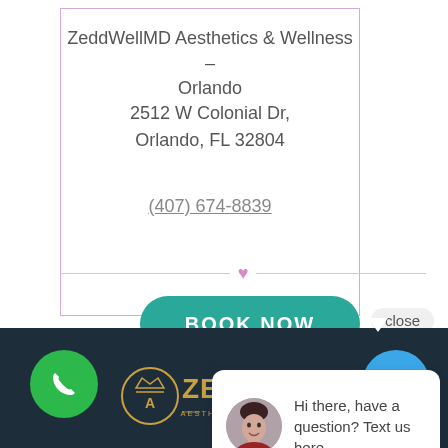ZeddWellMD Aesthetics & Wellness – Orlando
2512 W Colonial Dr,
Orlando, FL 32804
(407) 674-8839
BOOK NOW
close
Hi there, have a question? Text us here.
[Figure (logo): ZeddWellMD Aesthetics & Wellness logo with golden crown and circular emblem on dark background, with green phone button and blue chat button]